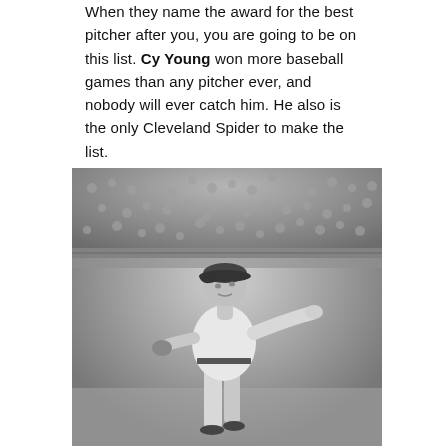When they name the award for the best pitcher after you, you are going to be on this list. Cy Young won more baseball games than any pitcher ever, and nobody will ever catch him. He also is the only Cleveland Spider to make the list.
[Figure (photo): Black and white photograph of Cy Young, a baseball pitcher, shown in pitching stance wearing a baseball uniform and cap with 'W' on it, with a stadium crowd visible in the background.]